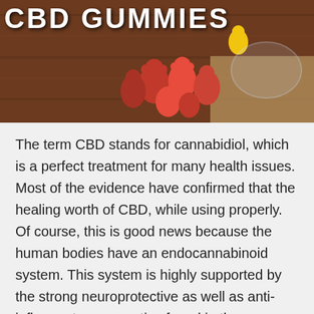[Figure (photo): Photo of red CBD gummy bears on a wooden surface with a bowl of gummies in the background. White text overlay reads 'CBD GUMMIES' at the top.]
The term CBD stands for cannabidiol, which is a perfect treatment for many health issues. Most of the evidence have confirmed that the healing worth of CBD, while using properly. Of course, this is good news because the human bodies have an endocannabinoid system. This system is highly supported by the strong neuroprotective as well as anti-inflammatory properties found in the cannabis plant. The CBD is non-psychoactive, which means that it does not even offer the sense of being high intoxication. Still, the CBD provides several other therapeutic health advantages. You might also